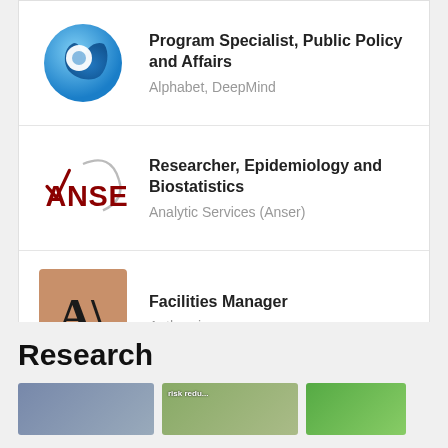Program Specialist, Public Policy and Affairs — Alphabet, DeepMind
Researcher, Epidemiology and Biostatistics — Analytic Services (Anser)
Facilities Manager — Anthropic
Research
[Figure (photo): Three thumbnail images below the Research section header, partially visible at the bottom of the page.]